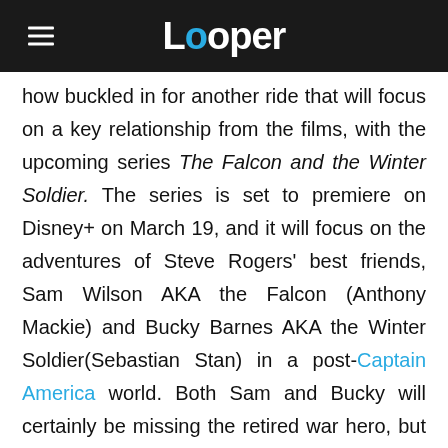Looper
how buckled in for another ride that will focus on a key relationship from the films, with the upcoming series The Falcon and the Winter Soldier. The series is set to premiere on Disney+ on March 19, and it will focus on the adventures of Steve Rogers' best friends, Sam Wilson AKA the Falcon (Anthony Mackie) and Bucky Barnes AKA the Winter Soldier(Sebastian Stan) in a post-Captain America world. Both Sam and Bucky will certainly be missing the retired war hero, but even with that friendship in common, there is (so far) very little goodwill between the two of them, and their bickering antics were a highlight of Captain America: Civil War.